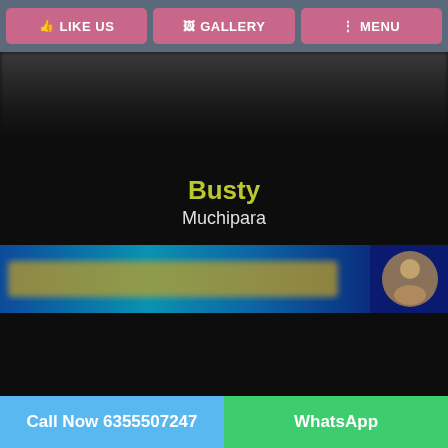LIKE US   GALLERY   MENU
[Figure (screenshot): Dark blurred background image area beneath navigation bar]
Busty
Muchipara
[Figure (photo): Blurred advertisement banner strip with blue background and golden text]
Call Now 6355507247   WhatsApp